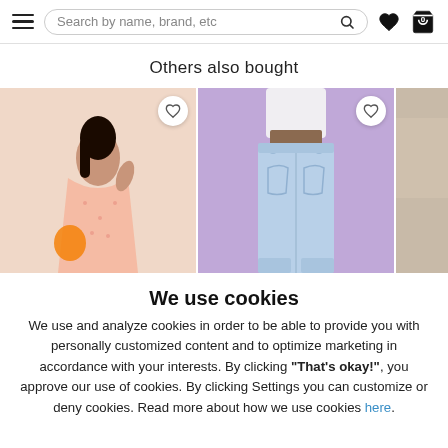Search by name, brand, etc
Others also bought
[Figure (photo): Woman wearing a pink floral wrap dress holding an orange bag, with a wishlist heart button overlay]
[Figure (photo): Person wearing light blue jeans on a purple background, rear view, with a wishlist heart button overlay]
[Figure (photo): Partial view of a third product on a beige/tan background]
We use cookies
We use and analyze cookies in order to be able to provide you with personally customized content and to optimize marketing in accordance with your interests. By clicking "That's okay!", you approve our use of cookies. By clicking Settings you can customize or deny cookies. Read more about how we use cookies here.